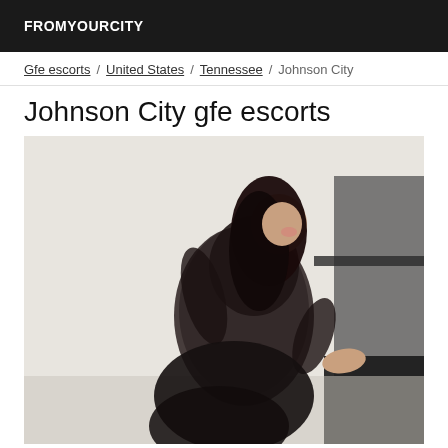FROMYOURCITY
Gfe escorts / United States / Tennessee / Johnson City
Johnson City gfe escorts
[Figure (photo): A woman in black lace clothing posing near a dark surface, photographed against a white/light background]